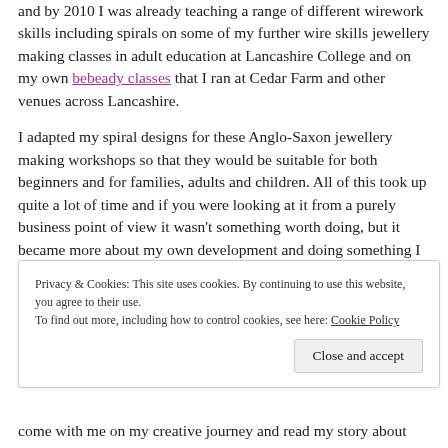and by 2010 I was already teaching a range of different wirework skills including spirals on some of my further wire skills jewellery making classes in adult education at Lancashire College and on my own bebeady classes that I ran at Cedar Farm and other venues across Lancashire.
I adapted my spiral designs for these Anglo-Saxon jewellery making workshops so that they would be suitable for both beginners and for families, adults and children. All of this took up quite a lot of time and if you were looking at it from a purely business point of view it wasn't something worth doing, but it became more about my own development and doing something I really enjoyed.
Privacy & Cookies: This site uses cookies. By continuing to use this website, you agree to their use. To find out more, including how to control cookies, see here: Cookie Policy
Close and accept
come with me on my creative journey and read my story about